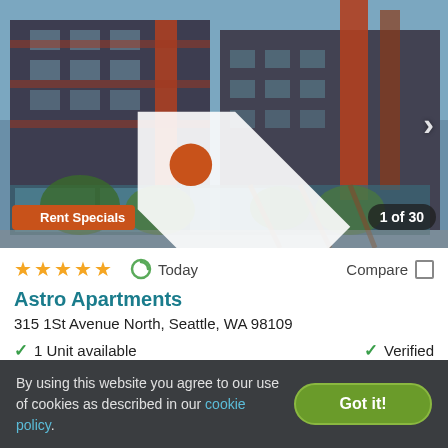[Figure (photo): Exterior photo of Astro Apartments building — modern multi-story apartment complex with dark grey and red/orange facade, glass storefronts at ground level, trees in foreground. Shows '1 of 30' photo counter and 'Rent Specials' badge.]
★★★★★ (4.5 stars)  Today  Compare
Astro Apartments
315 1St Avenue North, Seattle, WA 98109
✓ 1 Unit available    ✓ Verified
2 BEDS
$3,300+
By using this website you agree to our use of cookies as described in our cookie policy.